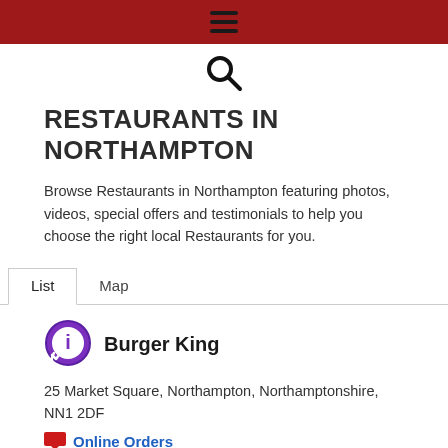≡ (hamburger menu icon)
[Figure (other): Search magnifying glass icon]
RESTAURANTS IN NORTHAMPTON
Browse Restaurants in Northampton featuring photos, videos, special offers and testimonials to help you choose the right local Restaurants for you.
List   Map (navigation tabs)
[Figure (logo): Burger King circular info icon with purple ring and checkmark]
Burger King
25 Market Square, Northampton, Northamptonshire, NN1 2DF
Online Orders